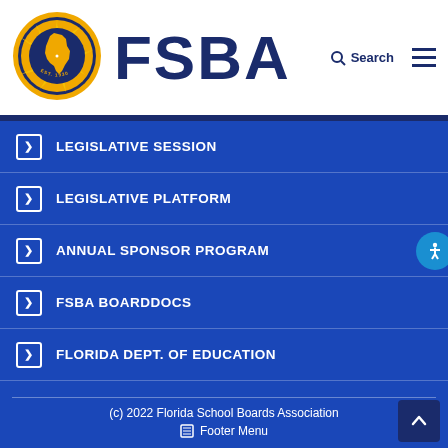[Figure (logo): FSBA Florida School Boards Association circular logo with Florida state map, sunburst, EST. 1930]
FSBA
LEGISLATIVE SESSION
LEGISLATIVE PLATFORM
ANNUAL SPONSOR PROGRAM
FSBA BOARDDOCS
FLORIDA DEPT. OF EDUCATION
(c) 2022 Florida School Boards Association Footer Menu